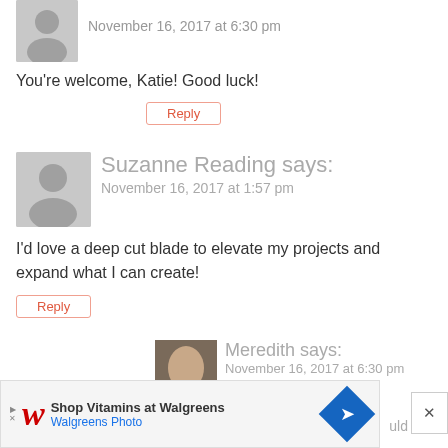November 16, 2017 at 6:30 pm
You're welcome, Katie! Good luck!
Reply
Suzanne Reading says:
November 16, 2017 at 1:57 pm
I'd love a deep cut blade to elevate my projects and expand what I can create!
Reply
Meredith says:
November 16, 2017 at 6:30 pm
The deep cut blade is awesome!
Reply
Cindy K says:
November 16, 2017 at 2:13 pm
[Figure (infographic): Walgreens advertisement banner: Shop Vitamins at Walgreens, Walgreens Photo]